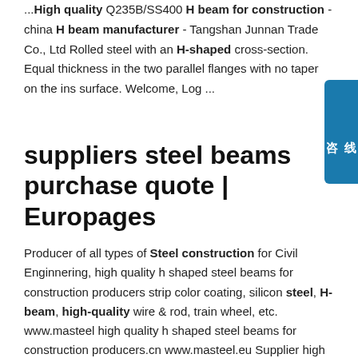...High quality Q235B/SS400 H beam for construction - china H beam manufacturer - Tangshan Junnan Trade Co., Ltd Rolled steel with an H-shaped cross-section. Equal thickness in the two parallel flanges with no taper on the ins surface. Welcome, Log ...
suppliers steel beams purchase quote | Europages
Producer of all types of Steel construction for Civil Enginnering, high quality h shaped steel beams for construction producers strip color coating, silicon steel, H-beam, high-quality wire & rod, train wheel, etc. www.masteel high quality h shaped steel beams for construction producers.cn www.masteel.eu Supplier high quality h shaped steel beams for construction producers H-beam steel production line, box-beam product line, welding colun& boom manipulator, welding rotator, welding positioner